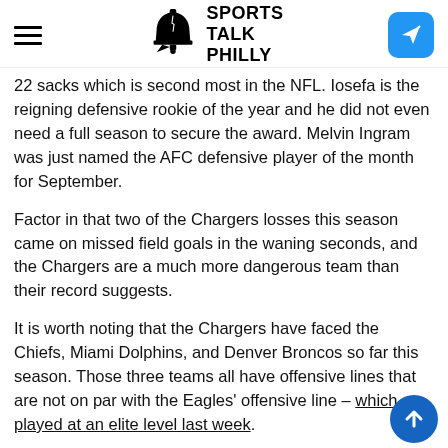Sports Talk Philly
22 sacks which is second most in the NFL. Iosefa is the reigning defensive rookie of the year and he did not even need a full season to secure the award. Melvin Ingram was just named the AFC defensive player of the month for September.
Factor in that two of the Chargers losses this season came on missed field goals in the waning seconds, and the Chargers are a much more dangerous team than their record suggests.
It is worth noting that the Chargers have faced the Chiefs, Miami Dolphins, and Denver Broncos so far this season. Those three teams all have offensive lines that are not on par with the Eagles' offensive line – which played at an elite level last week.
While the Chargers...